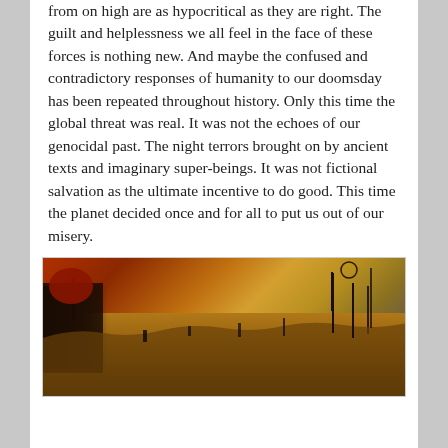from on high are as hypocritical as they are right. The guilt and helplessness we all feel in the face of these forces is nothing new. And maybe the confused and contradictory responses of humanity to our doomsday has been repeated throughout history. Only this time the global threat was real. It was not the echoes of our genocidal past. The night terrors brought on by ancient texts and imaginary super-beings. It was not fictional salvation as the ultimate incentive to do good. This time the planet decided once and for all to put us out of our misery.
[Figure (photo): A dark, apocalyptic painting in warm earth tones — reds, oranges, browns — depicting a desolate landscape with sparse skeletal structures rising from the ground, reminiscent of Bruegel's 'Triumph of Death' style.]